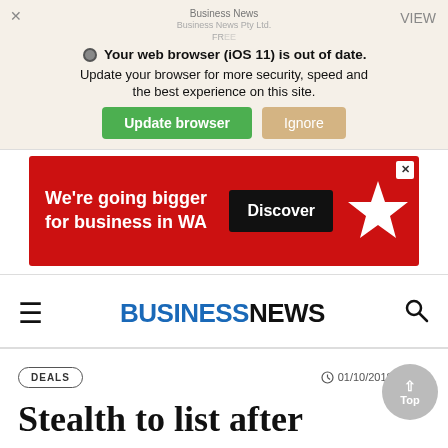[Figure (screenshot): Browser update notification banner: 'Your web browser (iOS 11) is out of date. Update your browser for more security, speed and the best experience on this site.' with 'Update browser' and 'Ignore' buttons, and Business News branding in background.]
[Figure (screenshot): Red advertisement banner: 'We're going bigger for business in WA' with 'Discover' button and white star logo on red background.]
BUSINESSNEWS
DEALS    01/10/2018 - 14:18
Stealth to list after Heatleys acquisition